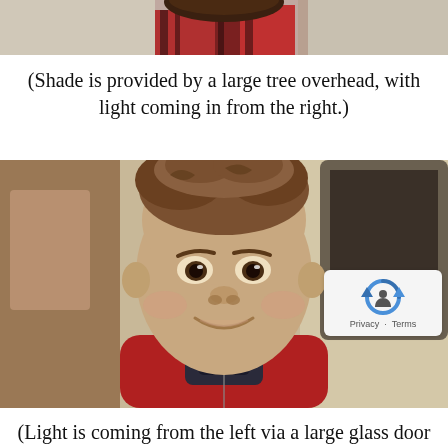[Figure (photo): Partial view of a person wearing a red and black patterned sweater, cropped at the top of the page]
(Shade is provided by a large tree overhead, with light coming in from the right.)
[Figure (photo): Close-up portrait of a young smiling boy with curly brown hair, wearing a red jacket with dark collar, with a blurred indoor background. A Google reCAPTCHA watermark with Privacy and Terms links is visible in the bottom-right corner.]
(Light is coming from the left via a large glass door